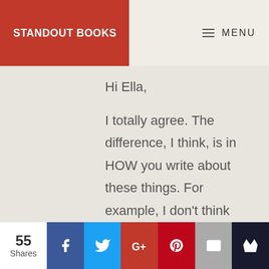STANDOUT BOOKS | MENU
Hi Ella,
I totally agree. The difference, I think, is in HOW you write about these things. For example, I don't think anyone would argue that the mermen in Harry Potter constitute sci-fi, whereas in L. Sprague de Camp's 'The Merman', it would be hard to argue they're anything else.
55 Shares | Facebook | Twitter | Google+ | Pinterest | Email | Crown